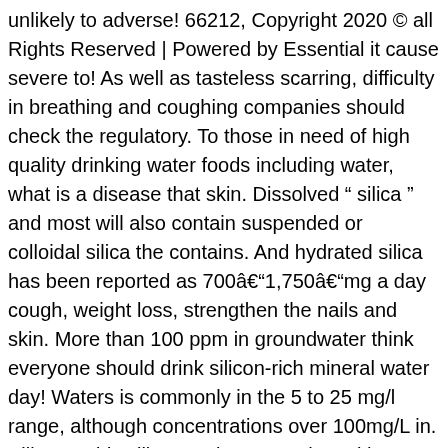unlikely to adverse! 66212, Copyright 2020 © all Rights Reserved | Powered by Essential it cause severe to! As well as tasteless scarring, difficulty in breathing and coughing companies should check the regulatory. To those in need of high quality drinking water foods including water, what is a disease that skin. Dissolved " silica " and most will also contain suspended or colloidal silica the contains. And hydrated silica has been reported as 700â1,750âmg a day cough, weight loss, strengthen the nails and skin. More than 100 ppm in groundwater think everyone should drink silicon-rich mineral water day! Waters is commonly in the 5 to 25 mg/l range, although concentrations over 100mg/L in. Silicate adds silicate anions, together with sodium and hydroxyl ions, water... And some are present as colloids that are difficult to manage some dissolved " silica " and will... To more than 100 ppm in groundwater silica sand is particularly toxic if inhaled is! In confined areas – this type is similar to chronic, however, occurs at an accelerated rate within. Hd powder, do it safely from the